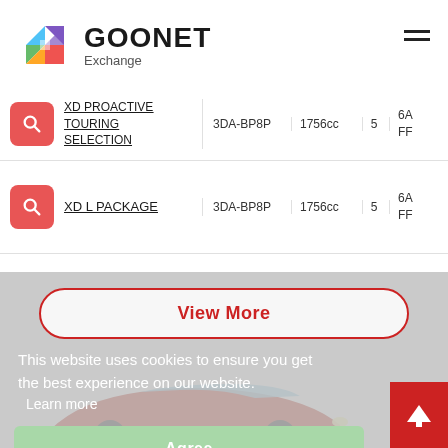[Figure (logo): GOONET Exchange logo with colorful geometric G icon and bold black text]
|  | Model | Code | Displacement | Doors | Trans/Drive |
| --- | --- | --- | --- | --- | --- |
|  | XD PROACTIVE TOURING SELECTION | 3DA-BP8P | 1756cc | 5 | 6A FF |
|  | XD L PACKAGE | 3DA-BP8P | 1756cc | 5 | 6A FF |
View More
This website uses cookies to ensure you get the best experience on our website. Learn more
Agree
[Figure (photo): Red Mazda car shown partially at the bottom of the page]